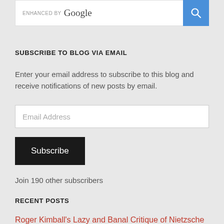[Figure (screenshot): Google search bar with 'ENHANCED BY Google' label and blue search button with magnifying glass icon]
SUBSCRIBE TO BLOG VIA EMAIL
Enter your email address to subscribe to this blog and receive notifications of new posts by email.
Email Address
Subscribe
Join 190 other subscribers
RECENT POSTS
Roger Kimball's Lazy and Banal Critique of Nietzsche